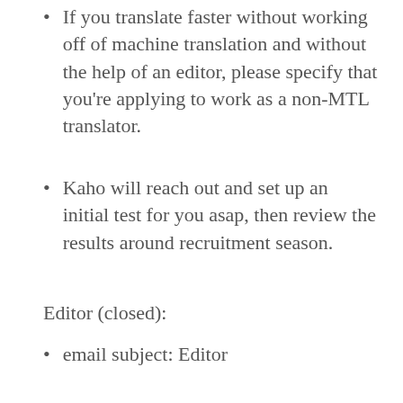If you translate faster without working off of machine translation and without the help of an editor, please specify that you're applying to work as a non-MTL translator.
Kaho will reach out and set up an initial test for you asap, then review the results around recruitment season.
Editor (closed):
email subject: Editor